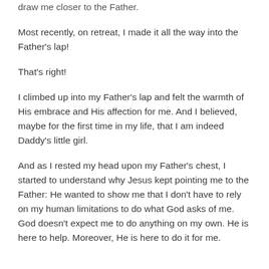draw me closer to the Father.
Most recently, on retreat, I made it all the way into the Father's lap!
That's right!
I climbed up into my Father's lap and felt the warmth of His embrace and His affection for me. And I believed, maybe for the first time in my life, that I am indeed Daddy's little girl.
And as I rested my head upon my Father's chest, I started to understand why Jesus kept pointing me to the Father: He wanted to show me that I don't have to rely on my human limitations to do what God asks of me. God doesn't expect me to do anything on my own. He is here to help. Moreover, He is here to do it for me.